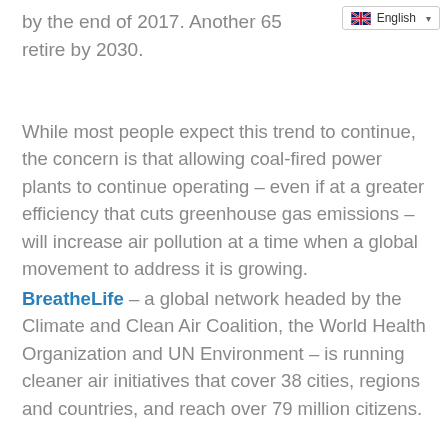by the end of 2017. Another 65 retire by 2030.
[Figure (screenshot): Language selector dropdown showing English with UK flag icon]
While most people expect this trend to continue, the concern is that allowing coal-fired power plants to continue operating – even if at a greater efficiency that cuts greenhouse gas emissions – will increase air pollution at a time when a global movement to address it is growing.
BreatheLife – a global network headed by the Climate and Clean Air Coalition, the World Health Organization and UN Environment – is running cleaner air initiatives that cover 38 cities, regions and countries, and reach over 79 million citizens.